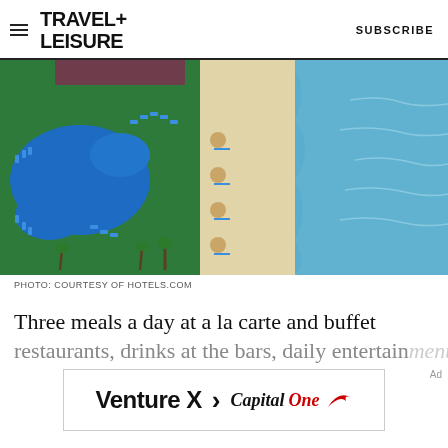TRAVEL+ LEISURE | SUBSCRIBE
[Figure (photo): Aerial view of a tropical beach resort with blue swimming pools, lounge chairs, palm trees, white sandy beach, and turquoise ocean water]
PHOTO: COURTESY OF HOTELS.COM
Three meals a day at a la carte and buffet restaurants, drinks at the bars, daily entertainment
[Figure (infographic): Capital One Venture X credit card advertisement banner showing 'Venture X > CapitalOne' with red swoosh logo]